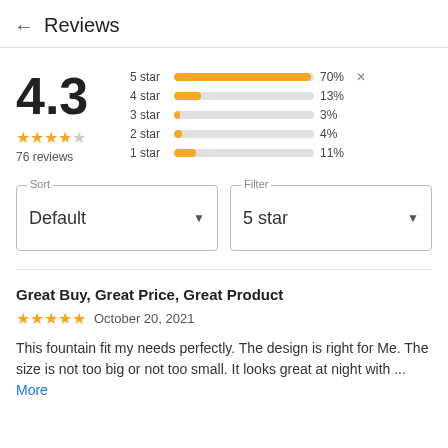← Reviews
[Figure (bar-chart): Rating distribution]
4.3
★★★★½
76 reviews
Sort: Default   Filter: 5 star
Great Buy, Great Price, Great Product
★★★★★  October 20, 2021
This fountain fit my needs perfectly. The design is right for Me. The size is not too big or not too small. It looks great at night with ...
More